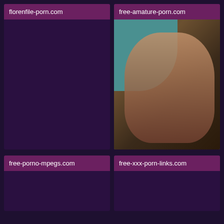florenfile-porn.com
[Figure (other): Empty dark placeholder card]
free-amature-porn.com
[Figure (photo): Photo thumbnail showing a person on a bed]
free-porno-mpegs.com
[Figure (other): Empty dark placeholder card]
free-xxx-porn-links.com
[Figure (other): Empty dark placeholder card]